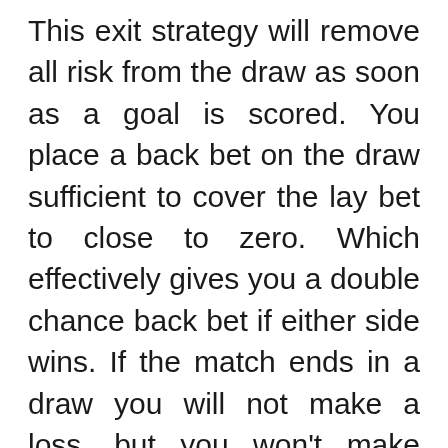This exit strategy will remove all risk from the draw as soon as a goal is scored. You place a back bet on the draw sufficient to cover the lay bet to close to zero. Which effectively gives you a double chance back bet if either side wins. If the match ends in a draw you will not make a loss, but you won't make money either.

These are just some of the exit strategies you can use when using